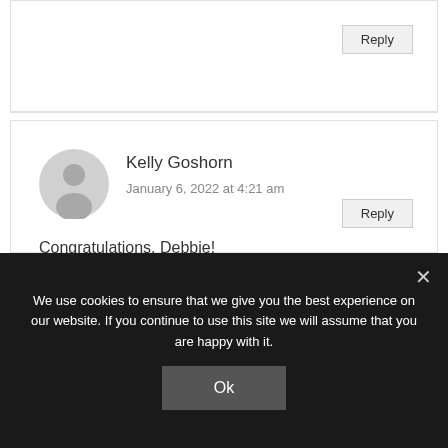Reply
Kelly Goshorn
January 6, 2022 at 4:21 am
Congratulations, Debbie!
Reply
We use cookies to ensure that we give you the best experience on our website. If you continue to use this site we will assume that you are happy with it.
Ok